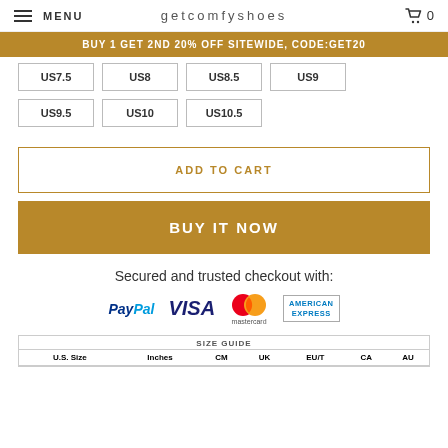MENU | getcomfyshoes | 0
BUY 1 GET 2ND 20% OFF SITEWIDE, CODE:GET20
US7.5
US8
US8.5
US9
US9.5
US10
US10.5
ADD TO CART
BUY IT NOW
Secured and trusted checkout with:
[Figure (logo): Payment logos: PayPal, VISA, Mastercard, American Express]
| SIZE GUIDE |  |  |  |  |  |  |
| --- | --- | --- | --- | --- | --- | --- |
| U.S. Size | Inches | CM | UK | EU/T | CA | AU |